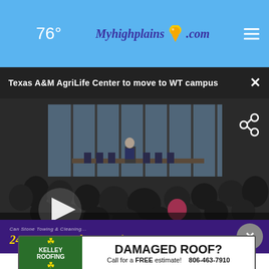🌙 76° — Myhighplains.com
Texas A&M AgriLife Center to move to WT campus
[Figure (photo): A press conference or announcement event in a large modern building with floor-to-ceiling windows. A speaker stands at a podium at the front facing a seated audience. Several officials sit in chairs behind the speaker. A large crowd fills the room. A video player button (play triangle) is overlaid on the lower-left of the image.]
[Figure (screenshot): Advertisement banner for '24 Hour Wrecker Service' in yellow italic text on a purple background, with a close button (X) on the right.]
[Figure (screenshot): Advertisement for Kelley Roofing with green logo on left, text reading 'DAMAGED ROOF? Call for a FREE estimate! 806-463-7910' on white background.]